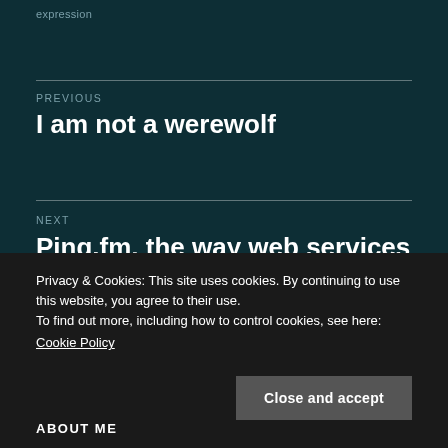expression
PREVIOUS
I am not a werewolf
NEXT
Ping.fm, the way web services should be done?
Privacy & Cookies: This site uses cookies. By continuing to use this website, you agree to their use.
To find out more, including how to control cookies, see here:
Cookie Policy
Close and accept
ABOUT ME